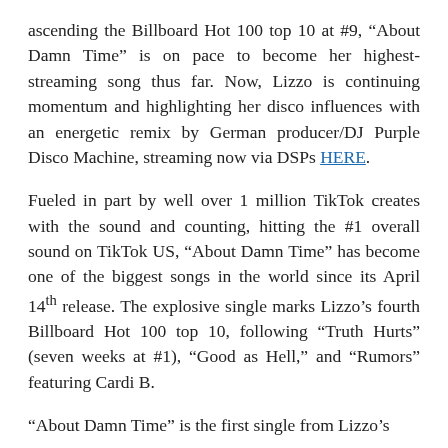ascending the Billboard Hot 100 top 10 at #9, “About Damn Time” is on pace to become her highest-streaming song thus far. Now, Lizzo is continuing momentum and highlighting her disco influences with an energetic remix by German producer/DJ Purple Disco Machine, streaming now via DSPs HERE.
Fueled in part by well over 1 million TikTok creates with the sound and counting, hitting the #1 overall sound on TikTok US, “About Damn Time” has become one of the biggest songs in the world since its April 14th release. The explosive single marks Lizzo’s fourth Billboard Hot 100 top 10, following “Truth Hurts” (seven weeks at #1), “Good as Hell,” and “Rumors” featuring Cardi B.
“About Damn Time” is the first single from Lizzo’s